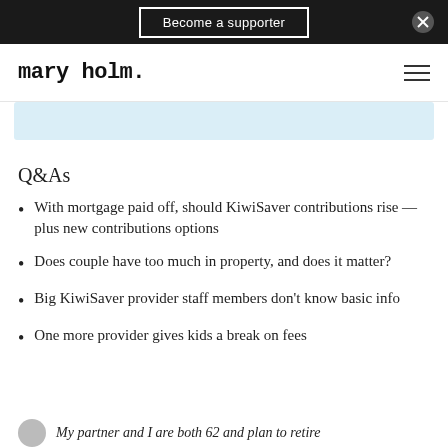Become a supporter
mary holm.
[Figure (other): Partial light blue content box visible at top of content area]
Q&As
With mortgage paid off, should KiwiSaver contributions rise — plus new contributions options
Does couple have too much in property, and does it matter?
Big KiwiSaver provider staff members don't know basic info
One more provider gives kids a break on fees
My partner and I are both 62 and plan to retire